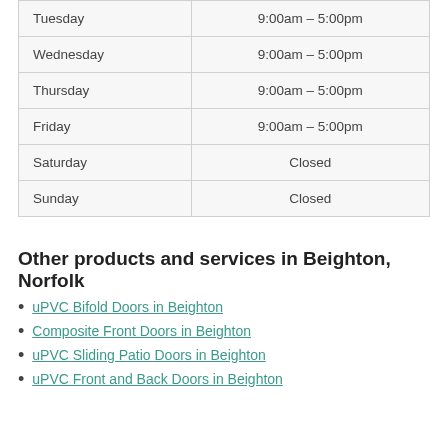| Day | Hours |
| --- | --- |
| Tuesday | 9:00am – 5:00pm |
| Wednesday | 9:00am – 5:00pm |
| Thursday | 9:00am – 5:00pm |
| Friday | 9:00am – 5:00pm |
| Saturday | Closed |
| Sunday | Closed |
Other products and services in Beighton, Norfolk
uPVC Bifold Doors in Beighton
Composite Front Doors in Beighton
uPVC Sliding Patio Doors in Beighton
uPVC Front and Back Doors in Beighton